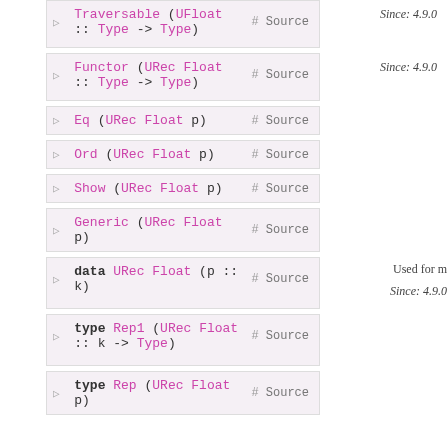▷ Traversable (UFloat :: Type -> Type)  # Source  Since: 4.9.0
▷ Functor (URec Float :: Type -> Type)  # Source  Since: 4.9.0
▷ Eq (URec Float p)  # Source
▷ Ord (URec Float p)  # Source
▷ Show (URec Float p)  # Source
▷ Generic (URec Float p)  # Source
▷ data URec Float (p :: k)  # Source  Used for m  Since: 4.9.0
▷ type Rep1 (URec Float :: k -> Type)  # Source
▷ type Rep (URec Float p)  # Source